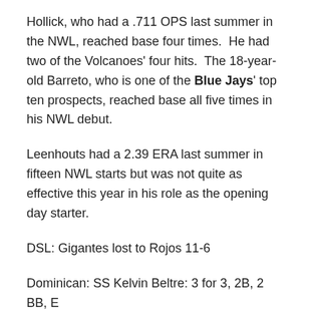Hollick, who had a .711 OPS last summer in the NWL, reached base four times.  He had two of the Volcanoes' four hits.  The 18-year-old Barreto, who is one of the Blue Jays' top ten prospects, reached base all five times in his NWL debut.
Leenhouts had a 2.39 ERA last summer in fifteen NWL starts but was not quite as effective this year in his role as the opening day starter.
DSL: Gigantes lost to Rojos 11-6
Dominican: SS Kelvin Beltre: 3 for 3, 2B, 2 BB, E
Dominican: RP Julio Benitez: 3.1 IP, 2 H, 1 BB, 3 K